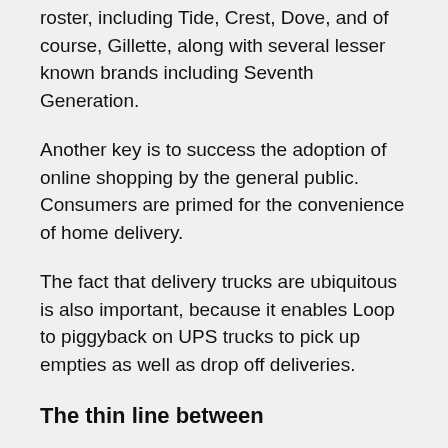roster, including Tide, Crest, Dove, and of course, Gillette, along with several lesser known brands including Seventh Generation.
Another key is to success the adoption of online shopping by the general public. Consumers are primed for the convenience of home delivery.
The fact that delivery trucks are ubiquitous is also important, because it enables Loop to piggyback on UPS trucks to pick up empties as well as drop off deliveries.
The thin line between